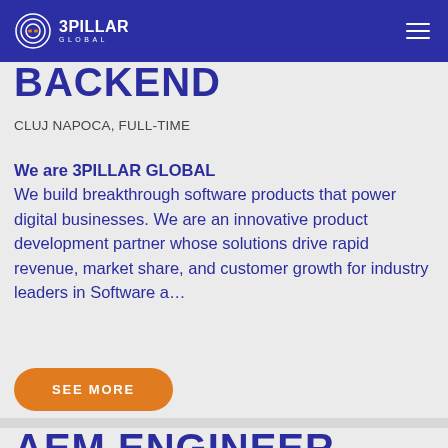3PILLAR GLOBAL — Navigation bar
BACKEND
CLUJ NAPOCA, FULL-TIME
We are 3PILLAR GLOBAL
We build breakthrough software products that power digital businesses. We are an innovative product development partner whose solutions drive rapid revenue, market share, and customer growth for industry leaders in Software a...
SEE MORE
AEM ENGINEER –